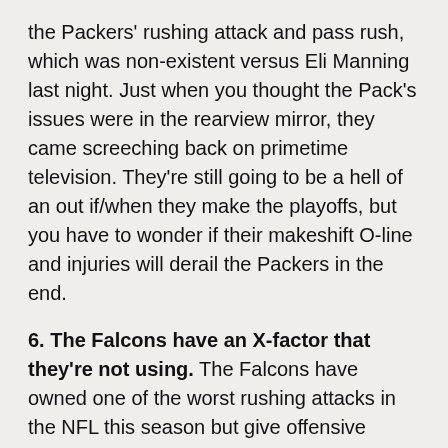the Packers' rushing attack and pass rush, which was non-existent versus Eli Manning last night. Just when you thought the Pack's issues were in the rearview mirror, they came screeching back on primetime television. They're still going to be a hell of an out if/when they make the playoffs, but you have to wonder if their makeshift O-line and injuries will derail the Packers in the end.
6. The Falcons have an X-factor that they're not using. The Falcons have owned one of the worst rushing attacks in the NFL this season but give offensive coordinator Dirk Koetter credit for running right at the Bucs' top-ranked run defense in Atlanta's 24-23 win on Sunday. The key was Jacquizz Rodgers, who rushed 10 times for 49 yards and one touchdown. He's become the X-factor that Koetter isn't using, or at least isn't using merely enough. When Michael Turner has been the featured back, Atlanta's